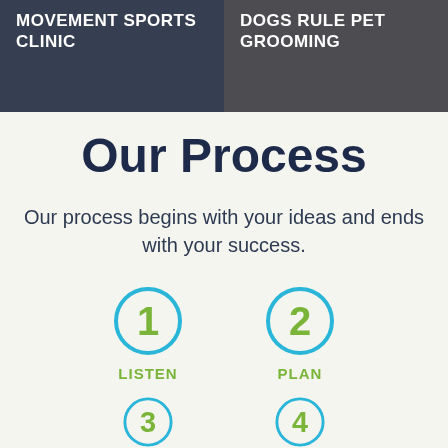MOVEMENT SPORTS CLINIC
DOGS RULE PET GROOMING
Our Process
Our process begins with your ideas and ends with your success.
1 LISTEN
2 PLAN
3
4